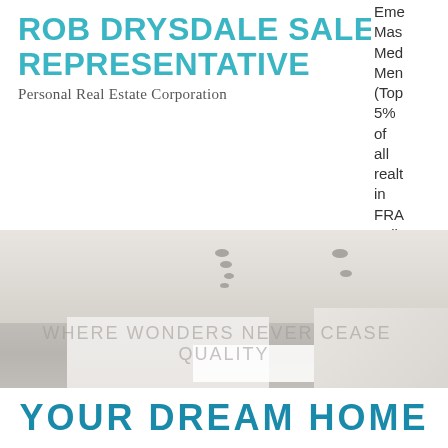ROB DRYSDALE SALES REPRESENTATIVE
Personal Real Estate Corporation
Eme Mas Med Men (Top 5% of all realt in FRA Valle
[Figure (photo): Modern white minimalist interior living space with white furniture, green plants, ceiling lights, staircase, and display boards]
YOUR DREAM HOME